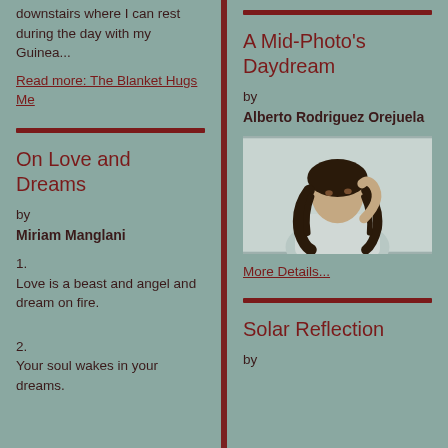downstairs where I can rest during the day with my Guinea...
Read more: The Blanket Hugs Me
On Love and Dreams
by
Miriam Manglani
1.
Love is a beast and angel and dream on fire.
2.
Your soul wakes in your dreams.
A Mid-Photo's Daydream
by
Alberto Rodriguez Orejuela
[Figure (photo): Young woman with curly dark hair touching her hair, looking upward, wearing a light gray sweatshirt]
More Details...
Solar Reflection
by